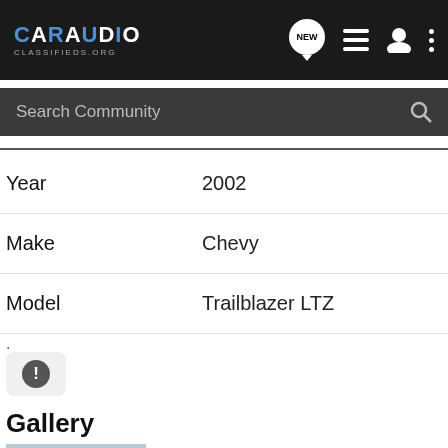CAR AUDIO CLASSIFIEDS.ORG
Search Community
| Field | Value |
| --- | --- |
| Year | 2002 |
| Make | Chevy |
| Model | Trailblazer LTZ |
.
Gallery
[Figure (photo): Exterior photo of a red Chevy Trailblazer LTZ parked outside, with bare trees in the background.]